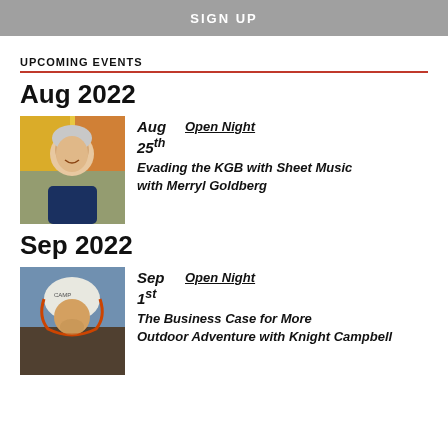SIGN UP
UPCOMING EVENTS
Aug 2022
[Figure (photo): Portrait of a smiling woman with short gray hair wearing a dark blue top, in front of a colorful abstract background]
Aug 25th  Open Night  Evading the KGB with Sheet Music with Merryl Goldberg
Sep 2022
[Figure (photo): Man wearing a white climbing helmet with orange chin strap, looking upward, outdoors on a rock face]
Sep 1st  Open Night  The Business Case for More Outdoor Adventure with Knight Campbell